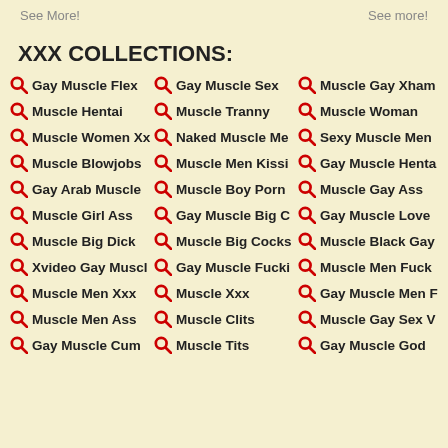See More!   See more!
XXX COLLECTIONS:
Gay Muscle Flex
Gay Muscle Sex
Muscle Gay Xham
Muscle Hentai
Muscle Tranny
Muscle Woman
Muscle Women Xx
Naked Muscle Me
Sexy Muscle Men
Muscle Blowjobs
Muscle Men Kissi
Gay Muscle Henta
Gay Arab Muscle
Muscle Boy Porn
Muscle Gay Ass
Muscle Girl Ass
Gay Muscle Big C
Gay Muscle Love
Muscle Big Dick
Muscle Big Cocks
Muscle Black Gay
Xvideo Gay Muscl
Gay Muscle Fucki
Muscle Men Fuck
Muscle Men Xxx
Muscle Xxx
Gay Muscle Men F
Muscle Men Ass
Muscle Clits
Muscle Gay Sex V
Gay Muscle Cum
Muscle Tits
Gay Muscle God